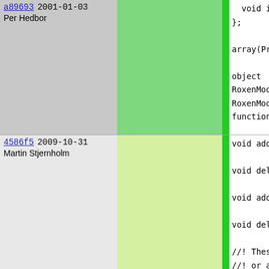| commit | date | author | code |
| --- | --- | --- | --- |
| a89693 | 2001-01-03 | Per Hedbor | void i
};

array(Pr

object
RoxenMod
RoxenMod
function

string n
int init

// Proto
int requ |
| 4586f5 | 2009-10-31 | Martin Stjernholm | void add

void del

void add

void del

//! Thes
//! or a
//! part
//! afte
//! |